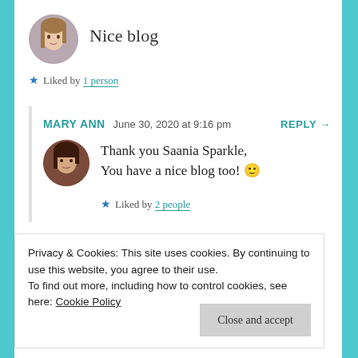Nice blog
★ Liked by 1 person
MARY ANN   June 30, 2020 at 9:16 pm   REPLY →
Thank you Saania Sparkle,
You have a nice blog too! 🙂
★ Liked by 2 people
Privacy & Cookies: This site uses cookies. By continuing to use this website, you agree to their use.
To find out more, including how to control cookies, see here: Cookie Policy